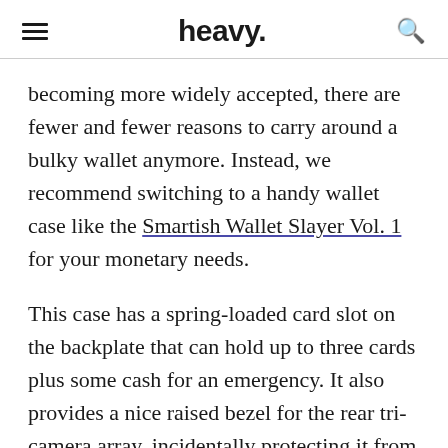heavy.
becoming more widely accepted, there are fewer and fewer reasons to carry around a bulky wallet anymore. Instead, we recommend switching to a handy wallet case like the Smartish Wallet Slayer Vol. 1 for your monetary needs.
This case has a spring-loaded card slot on the backplate that can hold up to three cards plus some cash for an emergency. It also provides a nice raised bezel for the rear tri-camera array, incidentally protecting it from drops. The front screen has a protective bezel around it as well. One important